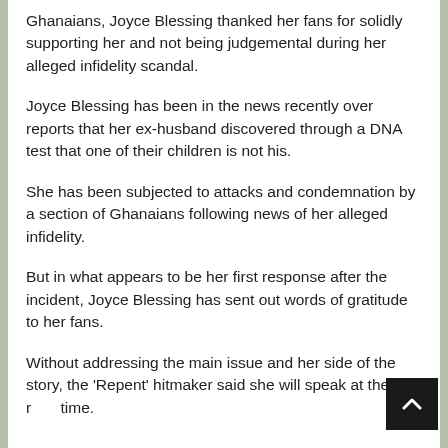Ghanaians, Joyce Blessing thanked her fans for solidly supporting her and not being judgemental during her alleged infidelity scandal.
Joyce Blessing has been in the news recently over reports that her ex-husband discovered through a DNA test that one of their children is not his.
She has been subjected to attacks and condemnation by a section of Ghanaians following news of her alleged infidelity.
But in what appears to be her first response after the incident, Joyce Blessing has sent out words of gratitude to her fans.
Without addressing the main issue and her side of the story, the 'Repent' hitmaker said she will speak at the right time.